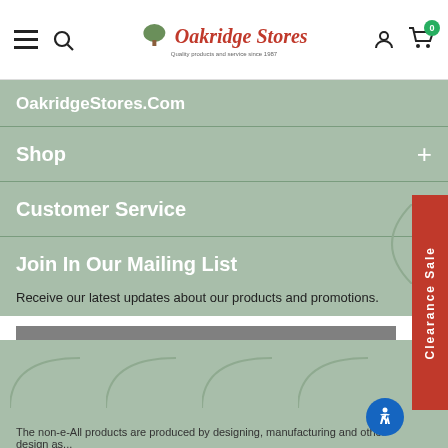Oakridge Stores — Quality products and service since 1987
OakridgeStores.Com
Shop
Customer Service
Join In Our Mailing List
Receive our latest updates about our products and promotions.
OUT OF STOCK
Clearance Sale